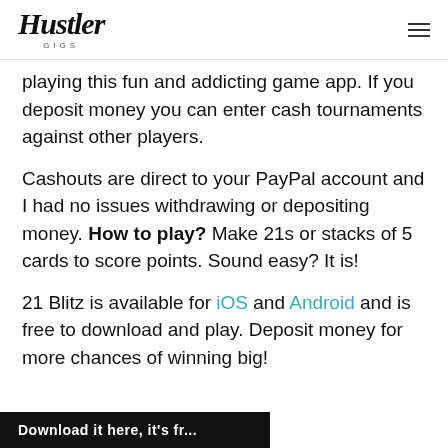Hustler Gigs
playing this fun and addicting game app. If you deposit money you can enter cash tournaments against other players.
Cashouts are direct to your PayPal account and I had no issues withdrawing or depositing money. How to play? Make 21s or stacks of 5 cards to score points. Sound easy? It is!
21 Blitz is available for iOS and Android and is free to download and play. Deposit money for more chances of winning big!